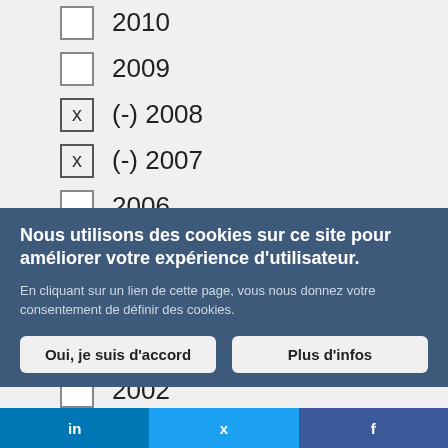2010
2009
(-) 2008
(-) 2007
2006
2005
2004
(-) 2003
2002
Nous utilisons des cookies sur ce site pour améliorer votre expérience d'utilisateur.
En cliquant sur un lien de cette page, vous nous donnez votre consentement de définir des cookies.
Oui, je suis d'accord
Plus d'infos
in  f